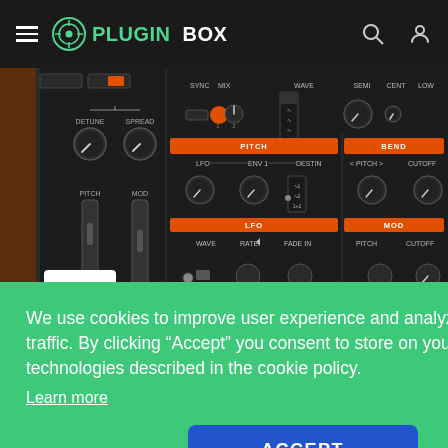Plugin Box
[Figure (screenshot): Screenshot of a synthesizer plugin UI showing knobs and sliders labeled DETUNE, SPREAD, PITCH, MOD, WAVE, SEMI, CENT, LOW, SYNC, MIX, LFO, ENV 1, DESTIN, PITCH, BEND, CUTOFF, LFO, MOD, WAVE, RATE, FADE IN sections with orange accent bars]
We use cookies to improve user experience and analyze website traffic. By clicking “Accept” you consent to store on your device all the technologies described in the cookie policy.
Learn more
ACCEPT
built-
Random), 4 Octaves Range.